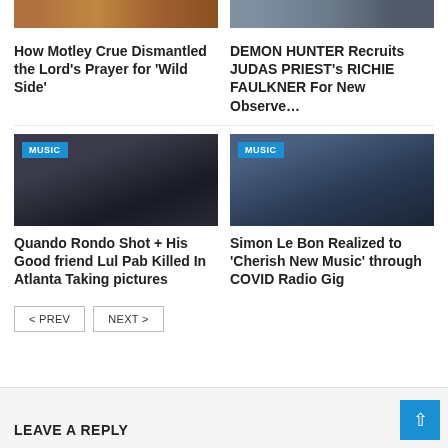[Figure (photo): Cropped top of article image - fire/dark tones, left column]
[Figure (photo): Cropped top of article image - beach/crowd scene, right column]
How Motley Crue Dismantled the Lord's Prayer for 'Wild Side'
DEMON HUNTER Recruits JUDAS PRIEST's RICHIE FAULKNER For New Observe…
[Figure (photo): Person in a hoodie, dark moody photo, MUSIC badge overlay]
[Figure (photo): Man singing into microphone on stage, MUSIC badge overlay]
Quando Rondo Shot + His Good friend Lul Pab Killed In Atlanta Taking pictures
Simon Le Bon Realized to 'Cherish New Music' through COVID Radio Gig
< PREV
NEXT >
LEAVE A REPLY